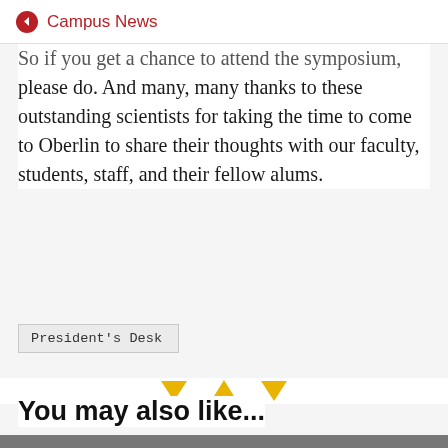Campus News
So if you get a chance to attend the symposium, please do. And many, many thanks to these outstanding scientists for taking the time to come to Oberlin to share their thoughts with our faculty, students, staff, and their fellow alums.
President's Desk
[Figure (other): Three navigation arrows: down triangle (gold), up triangle (gold), down triangle (gold)]
You may also like...
[Figure (photo): Partial photo visible at bottom of page]